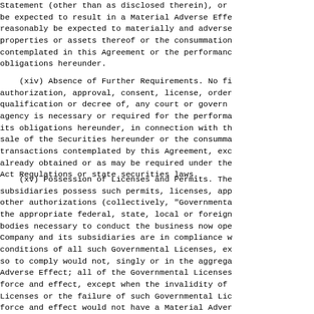Statement (other than as disclosed therein), or be expected to result in a Material Adverse Effe reasonably be expected to materially and adverse properties or assets thereof or the consummation contemplated in this Agreement or the performanc obligations hereunder.
(xiv) Absence of Further Requirements. No fi authorization, approval, consent, license, order qualification or decree of, any court or govern agency is necessary or required for the performa its obligations hereunder, in connection with th sale of the Securities hereunder or the consumma transactions contemplated by this Agreement, exc already obtained or as may be required under the Act Regulations or state securities laws.
(xv) Possession of Licenses and Permits. The subsidiaries possess such permits, licenses, app other authorizations (collectively, "Governmenta the appropriate federal, state, local or foreign bodies necessary to conduct the business now ope Company and its subsidiaries are in compliance w conditions of all such Governmental Licenses, ex so to comply would not, singly or in the aggrega Adverse Effect; all of the Governmental Licenses force and effect, except when the invalidity of Licenses or the failure of such Governmental Lic force and effect would not have a Material Adver the Company nor any of its subsidiaries has rece